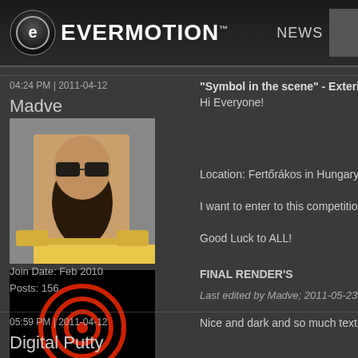[Figure (screenshot): Evermotion website header with logo (circular E icon), site name EVERMOTION, navigation links NEWS and SHOP]
04:24 PM | 2011-04-12
"Symbol in the scene" - Exterior ent...
Madve
Hi Everyone!
[Figure (photo): Avatar photo of man with dark beard and sunglasses in military-style costume]
Location: Fertőrákos in Hungary ( quarry )
I want to enter to this competition with my dip...
[Figure (logo): Editors Choice Award badge - black background with red target/bullseye icon, text EDITORS' CHOICE AWARD]
Good Luck to ALL!
Join Date:  Feb 2010
Posts:  156
FINAL RENDER'S
Last edited by Madve; 2011-05-23 at 07:55 P...
05:59 PM | 2011-04-12
Digital Putty
Nice and dark and so much texture! Nice cho...